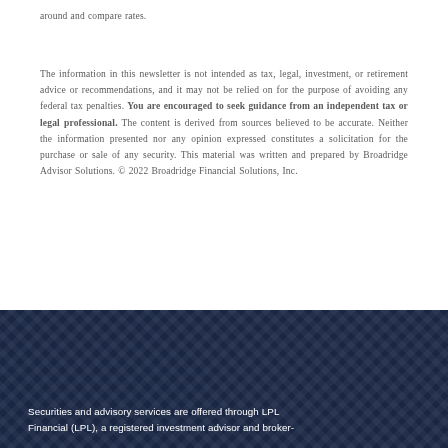around and compare rates.
The information in this newsletter is not intended as tax, legal, investment, or retirement advice or recommendations, and it may not be relied on for the purpose of avoiding any federal tax penalties. You are encouraged to seek guidance from an independent tax or legal professional. The content is derived from sources believed to be accurate. Neither the information presented nor any opinion expressed constitutes a solicitation for the purchase or sale of any security. This material was written and prepared by Broadridge Advisor Solutions. © 2022 Broadridge Financial Solutions, Inc.
Securities and advisory services are offered through LPL Financial (LPL), a registered investment advisor and broker-